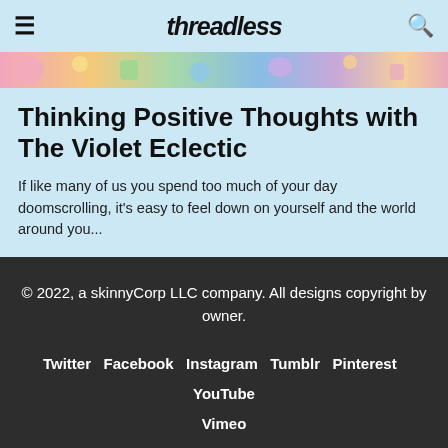Threadless
[Figure (photo): Colorful illustrated banner strip with flowers and abstract shapes in pink, yellow, green, and blue tones]
Thinking Positive Thoughts with The Violet Eclectic
If like many of us you spend too much of your day doomscrolling, it's easy to feel down on yourself and the world around you...
© 2022, a skinnyCorp LLC company. All designs copyright by owner. Twitter Facebook Instagram Tumblr Pinterest YouTube Vimeo